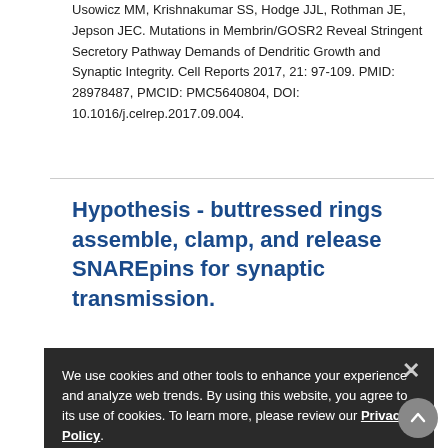Usowicz MM, Krishnakumar SS, Hodge JJL, Rothman JE, Jepson JEC. Mutations in Membrin/GOSR2 Reveal Stringent Secretory Pathway Demands of Dendritic Growth and Synaptic Integrity. Cell Reports 2017, 21: 97-109. PMID: 28978487, PMCID: PMC5640804, DOI: 10.1016/j.celrep.2017.09.004.
Hypothesis - buttressed rings assemble, clamp, and release SNAREpins for synaptic transmission.
Rothman JE, Krishnakumar SS, Grushin K, Bhcet F. Hypothesis - buttressed rings assemble, clamp, and release SNAREpins for synaptic transmission. FEBS Letters 2017, 591: 3459-3480. PMID: 28983915, PMCID: PMC5608745, DOI: 10.1002/1873-3468.12874.
We use cookies and other tools to enhance your experience and analyze web trends. By using this website, you agree to its use of cookies. To learn more, please review our Privacy Policy.